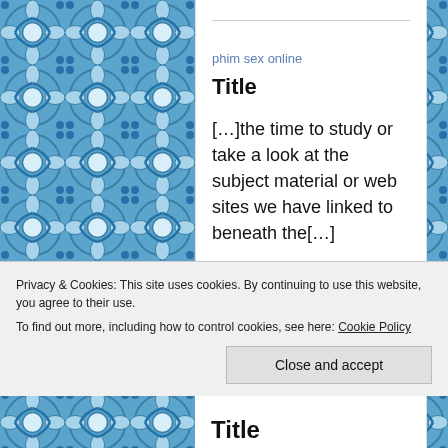[Figure (illustration): Decorative blue Moroccan/Portuguese tile pattern on left and right sides of the page]
phim sex online
Title
[…]the time to study or take a look at the subject material or web sites we have linked to beneath the[…]
Privacy & Cookies: This site uses cookies. By continuing to use this website, you agree to their use.
To find out more, including how to control cookies, see here: Cookie Policy
Close and accept
Title